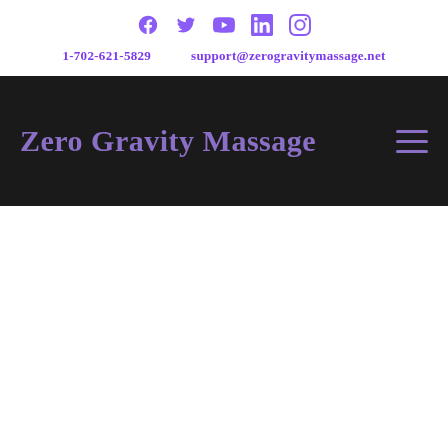[Figure (infographic): Social media icons row: Facebook, Twitter, YouTube, LinkedIn, Instagram — all in purple]
1-702-621-5829    support@zerogravitymassage.net
Zero Gravity Massage
[Figure (other): Hamburger menu icon (three horizontal lines) in purple on dark background]